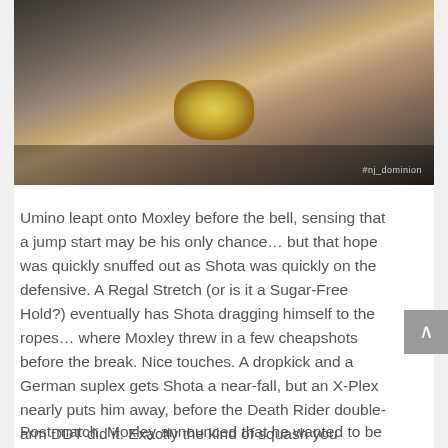[Figure (photo): A wrestler holding up a championship belt in front of a crowd, viewed from below. Watermark reads #nj_dominion in bottom right.]
Umino leapt onto Moxley before the bell, sensing that a jump start may be his only chance… but that hope was quickly snuffed out as Shota was quickly on the defensive. A Regal Stretch (or is it a Sugar-Free Hold?) eventually has Shota dragging himself to the ropes… where Moxley threw in a few cheapshots before the break. Nice touches. A dropkick and a German suplex gets Shota a near-fall, but an X-Plex nearly puts him away, before the Death Rider double-arm DDT did it. Exactly the kind of squash you expected, and this was glorious. I feel like Jon Moxley's done a lot in these opening two matches in New Japan to shed the proverbial shackles of his past. Is he a “perfect fit” for New Japan? No, but that's what makes this great. ***
Post-match, Moxley announced that he wanted to be a